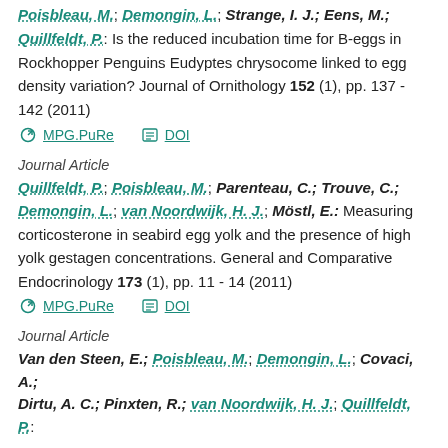Poisbleau, M.; Demongin, L.; Strange, I. J.; Eens, M.; Quillfeldt, P.: Is the reduced incubation time for B-eggs in Rockhopper Penguins Eudyptes chrysocome linked to egg density variation? Journal of Ornithology 152 (1), pp. 137 - 142 (2011)
MPG.PuRe  DOI
Journal Article
Quillfeldt, P.; Poisbleau, M.; Parenteau, C.; Trouve, C.; Demongin, L.; van Noordwijk, H. J.; Möstl, E.: Measuring corticosterone in seabird egg yolk and the presence of high yolk gestagen concentrations. General and Comparative Endocrinology 173 (1), pp. 11 - 14 (2011)
MPG.PuRe  DOI
Journal Article
Van den Steen, E.; Poisbleau, M.; Demongin, L.; Covaci, A.; Dirtu, A. C.; Pinxten, R.; van Noordwijk, H. J.; Quillfeldt, P.: